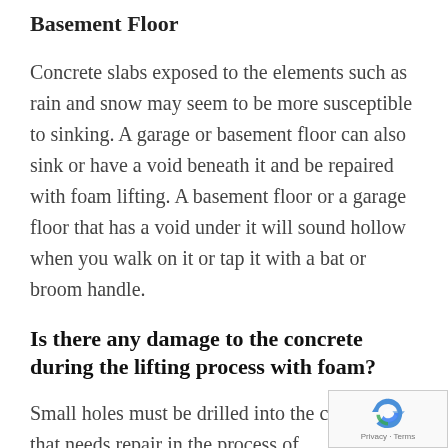Basement Floor
Concrete slabs exposed to the elements such as rain and snow may seem to be more susceptible to sinking. A garage or basement floor can also sink or have a void beneath it and be repaired with foam lifting. A basement floor or a garage floor that has a void under it will sound hollow when you walk on it or tap it with a bat or broom handle.
Is there any damage to the concrete during the lifting process with foam?
Small holes must be drilled into the concrete that needs repair in the process of